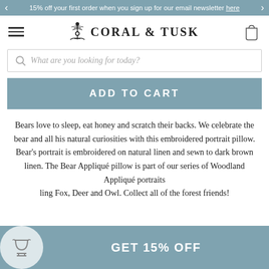15% off your first order when you sign up for our email newsletter here
[Figure (logo): Coral & Tusk brand logo with tree and bird illustration]
What are you looking for today?
ADD TO CART
Bears love to sleep, eat honey and scratch their backs. We celebrate the bear and all his natural curiosities with this embroidered portrait pillow. Bear's portrait is embroidered on natural linen and sewn to dark brown linen. The Bear Appliqué pillow is part of our series of Woodland Appliqué portraits ling Fox, Deer and Owl. Collect all of the forest friends!
GET 15% OFF